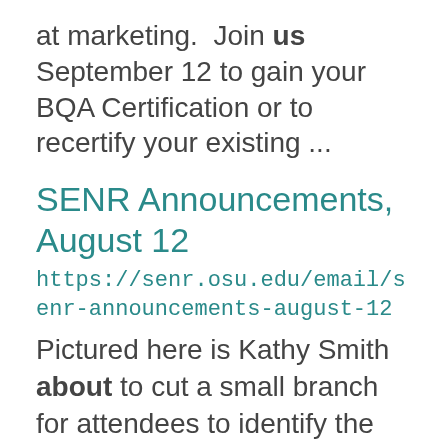at marketing.  Join us September 12 to gain your BQA Certification or to recertify your existing ...
SENR Announcements, August 12
https://senr.osu.edu/email/senr-announcements-august-12
Pictured here is Kathy Smith about to cut a small branch for attendees to identify the Black Walnut tree by ... Department of Athletics at Ohio State as an Environmental Sustainability Specialist. We are excited about ... more. A simultaneous companion exhibition  is also open to the public August 22 – September